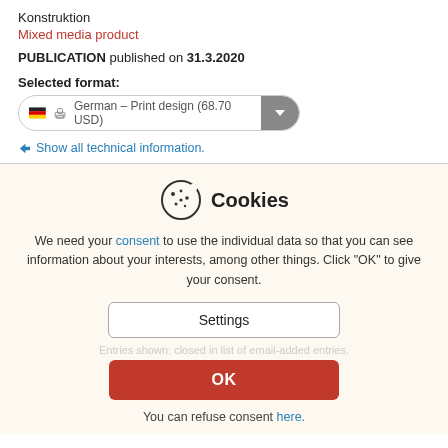Konstruktion
Mixed media product
PUBLICATION published on 31.3.2020
Selected format:
German - Print design (68.70 USD)
Show all technical information.
Cookies
We need your consent to use the individual data so that you can see information about your interests, among other things. Click "OK" to give your consent.
Settings
Entries shown: closed in list of email-added entries.
OK
You can refuse consent here.